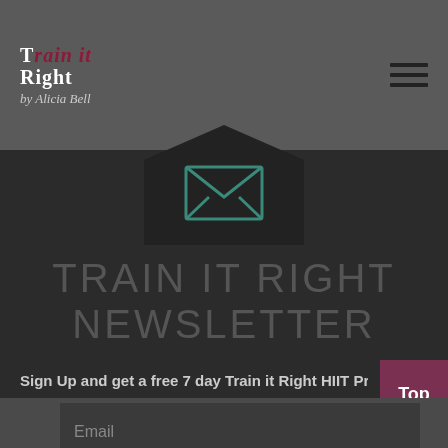[Figure (logo): Train IT Right logo by Alicia Bell - top left of header]
[Figure (other): Hamburger menu icon (three horizontal lines) - top right]
[Figure (other): Open envelope icon inside dark pentagon/chevron shape]
TRAIN IT RIGHT NEWSLETTER
Sign Up and get a free 7 day Train it Right HIIT Program!
[Figure (other): Top button (back to top) - maroon square bottom right]
Name
Email